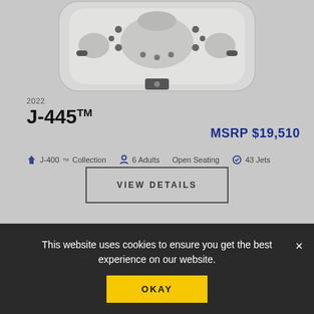[Figure (photo): Top-down view of a Jacuzzi J-445 hot tub with grey/white shell showing seats, jets, and interior layout]
2022
J-445™
MSRP $19,510
J-400™ Collection   6 Adults   Open Seating   43 Jets
VIEW DETAILS
This website uses cookies to ensure you get the best experience on our website.
OKAY